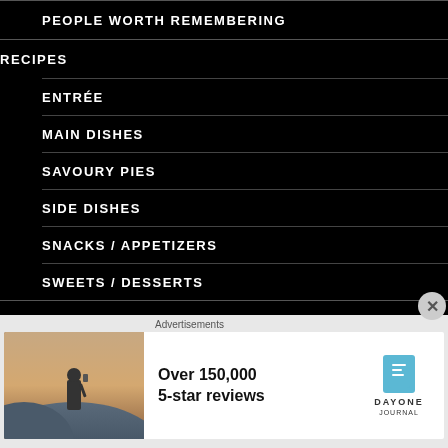PEOPLE WORTH REMEMBERING
RECIPES
ENTRÉE
MAIN DISHES
SAVOURY PIES
SIDE DISHES
SNACKS / APPETIZERS
SWEETS / DESSERTS
MALTA
ABOUT MALTA
Advertisements
[Figure (photo): Advertisement banner for Day One Journal app showing a person standing on a hill, text reads 'Over 150,000 5-star reviews' with Day One Journal logo]